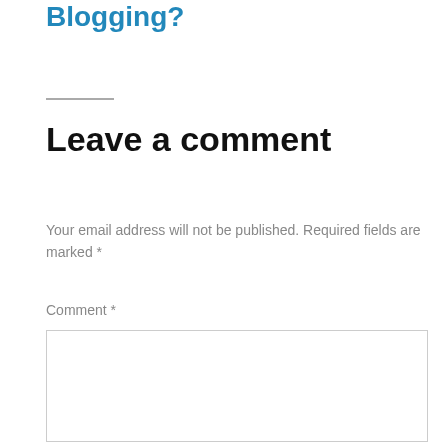Blogging?
Leave a comment
Your email address will not be published. Required fields are marked *
Comment *